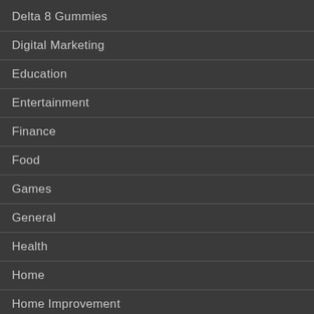Delta 8 Gummies
Digital Marketing
Education
Entertainment
Finance
Food
Games
General
Health
Home
Home Improvement
Legal